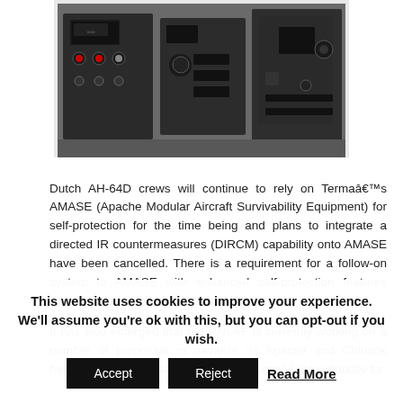[Figure (photo): Electronic avionics/survivability equipment modules (black boxes with connectors and controls), likely AMASE units for AH-64D Apache helicopter]
Dutch AH-64D crews will continue to rely on Termaâ€™s AMASE (Apache Modular Aircraft Survivability Equipment) for self-protection for the time being and plans to integrate a directed IR countermeasures (DIRCM) capability onto AMASE have been cancelled. There is a requirement for a follow-on system to AMASE with enhanced self-protection features which could be introduced from 2015 onwards.
It has also emerged that the RNLAF is currently working on a number of proposals to navalise its Apache and Chinook helicopters. In order to improve the Apacheâ€™s suitability for
This website uses cookies to improve your experience. We'll assume you're ok with this, but you can opt-out if you wish.